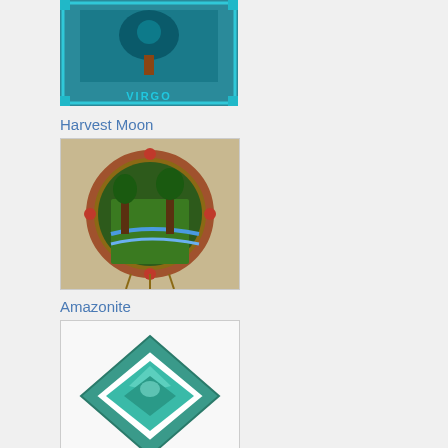[Figure (photo): Virgo zodiac sign image with teal border and decorative elements]
Harvest Moon
[Figure (photo): Harvest Moon circular art piece with nature scene]
Amazonite
[Figure (illustration): Amazonite gemstone diamond shape illustration in teal/green]
Sweet Violet
[Figure (photo): Purple violet flowers with green leaves]
Virgo
[Figure (photo): Virgo themed artistic image with garden/nature elements]